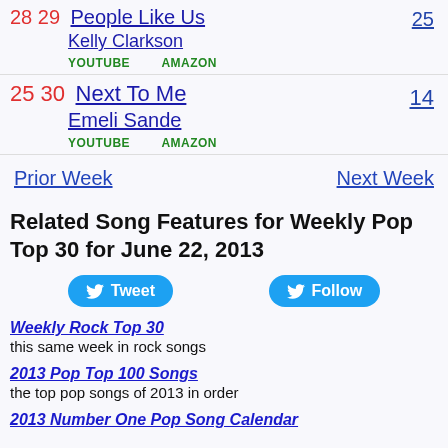28 29 People Like Us - Kelly Clarkson | Peak: 25 | YOUTUBE | AMAZON
25 30 Next To Me - Emeli Sande | Peak: 14 | YOUTUBE | AMAZON
Prior Week | Next Week
Related Song Features for Weekly Pop Top 30 for June 22, 2013
Tweet | Follow
Weekly Rock Top 30
this same week in rock songs
2013 Pop Top 100 Songs
the top pop songs of 2013 in order
2013 Number One Pop Song Calendar